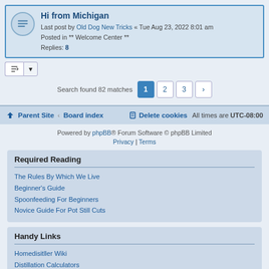Hi from Michigan — Last post by Old Dog New Tricks « Tue Aug 23, 2022 8:01 am — Posted in ** Welcome Center ** — Replies: 8
Search found 82 matches — pages 1, 2, 3
Parent Site · Board index — Delete cookies — All times are UTC-08:00
Powered by phpBB® Forum Software © phpBB Limited
Privacy | Terms
Required Reading
The Rules By Which We Live
Beginner's Guide
Spoonfeeding For Beginners
Novice Guide For Pot Still Cuts
Handy Links
Homedisitller Wiki
Distillation Calculators
Active Topics
The Angel's Share